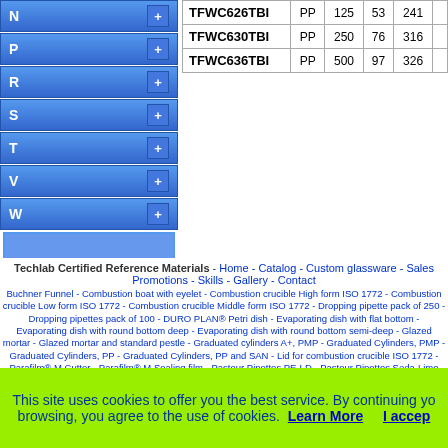N +
P +
R +
S +
T +
V +
W +
| Product | Material | Vol (mL) | OD (mm) | H (mm) |  |
| --- | --- | --- | --- | --- | --- |
| TFWC626TBI | PP | 125 | 53 | 241 |  |
| TFWC630TBI | PP | 250 | 76 | 316 |  |
| TFWC636TBI | PP | 500 | 97 | 326 |  |
Techlab Certified Reference Materials - Home - Catalog - Custom glassware - Sales Promotions - Skills - Gallery - Contact
Buchner Funnel - Combustion boat with eyelet - Combustion crucible High form ISO 1772 - Combustion crucible Low form ISO 1772 - Combustion crucible Middle form ISO 1772 - Dropping pipette pack of 250 - Dropping pipettes pack of 100 - DURO PLAN® Petri dish - Evaporating dish with flat bottom - Evaporating dish with round bottom deep - Evaporating dish with round bottom semi-deep - Glazed mortar - Glazed mortar and standard pestle - Graduated cylinders A+, PMP - Graduated Cylinders, PMP - Graduated Cylinders, PP - Graduated Cylinders, PP and SAN - Lid for combustion crucible ISO 1772 - Parafilm® M Cutter - Parafilm® M Sealing film - Pasteur Pipettes PE-LD - Pasteur Pipettes Soda-Lime glass - Petri dish - Petri dish PS - PFA Beakers, low form - PFA Evaporating dishes - PFA Gas wash bottles - PFA Narrow mouth wash
This site uses cookies to offer you the best service. By continuing your browsing, you agree to the use of cookies. Learn More  I accept